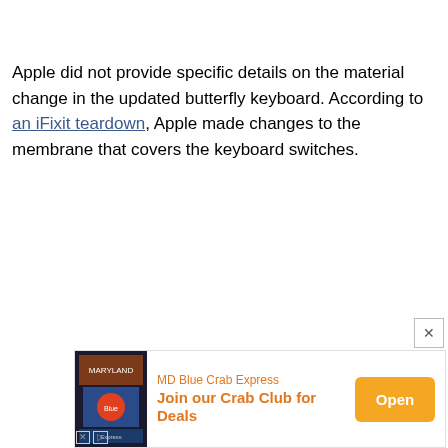Apple did not provide specific details on the material change in the updated butterfly keyboard. According to an iFixit teardown, Apple made changes to the membrane that covers the keyboard switches.
[Figure (screenshot): Advertisement banner for MD Blue Crab Express with 'Join our Crab Club for Deals' text and an orange 'Open' button.]